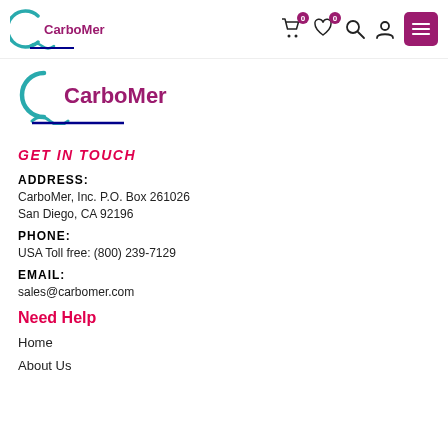CarboMer — navigation header with cart, wishlist, search, account, and menu icons
[Figure (logo): CarboMer logo — large version with teal C-shape and wavy blue underline]
GET IN TOUCH
ADDRESS:
CarboMer, Inc. P.O. Box 261026
San Diego, CA 92196
PHONE:
USA Toll free: (800) 239-7129
EMAIL:
sales@carbomer.com
Need Help
Home
About Us